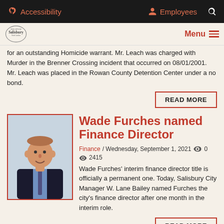Accessibility  Employees  Search
[Figure (logo): City of Salisbury, North Carolina logo with Menu button]
for an outstanding Homicide warrant. Mr. Leach was charged with Murder in the Brenner Crossing incident that occurred on 08/01/2001. Mr. Leach was placed in the Rowan County Detention Center under a no bond.
READ MORE
[Figure (photo): Professional headshot of Wade Furches, a man in a dark suit and tie]
Wade Furches named Finance Director
Finance / Wednesday, September 1, 2021  0  2415
Wade Furches' interim finance director title is officially a permanent one. Today, Salisbury City Manager W. Lane Bailey named Furches the city's finance director after one month in the interim role.
READ MORE